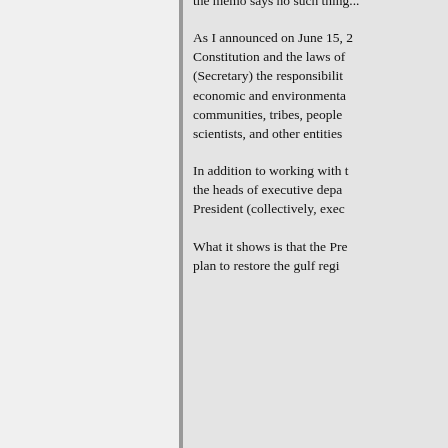the memo says no such thing...
As I announced on June 15, 2... Constitution and the laws of... (Secretary) the responsibilit... economic and environmenta... communities, tribes, people... scientists, and other entities...
In addition to working with t... the heads of executive depa... President (collectively, exec...
What it shows is that the Pre... plan to restore the gulf regi...
Plain outlandish shit
* Obama is creating a Nazi-li...
* Van Jones is a convicted fe...
* ACORN is receiving billions...
* Eco-terrorists bombed rad...